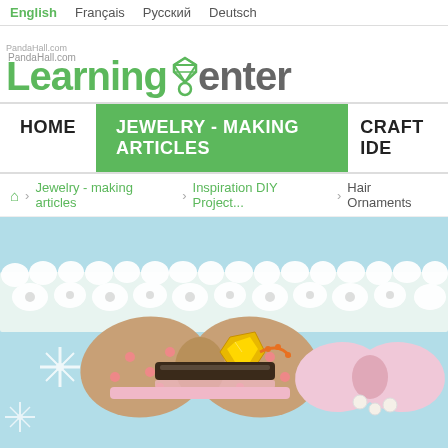English | Français | Русский | Deutsch
[Figure (logo): PandaHall.com Learning Center logo with green diamond icon]
HOME | JEWELRY - MAKING ARTICLES | CRAFT IDEAS
Home > Jewelry - making articles > Inspiration DIY Project... > Hair Ornaments
[Figure (photo): Photo of hair ornaments on light blue background with white lace trim, featuring polka dot ribbon bow with yellow gem and pearl decorations]